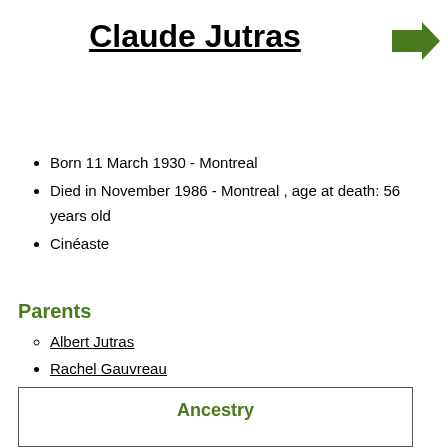Claude Jutras
[Figure (illustration): Green right-pointing arrow icon in top-right corner]
Born 11 March 1930 - Montreal
Died in November 1986 - Montreal , age at death: 56 years old
Cinéaste
Parents
Albert Jutras
Rachel Gauvreau
Ancestry